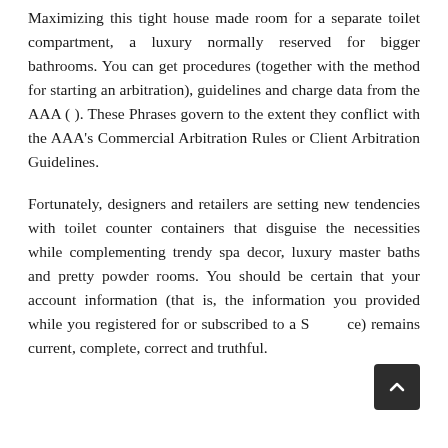Maximizing this tight house made room for a separate toilet compartment, a luxury normally reserved for bigger bathrooms. You can get procedures (together with the method for starting an arbitration), guidelines and charge data from the AAA ( ). These Phrases govern to the extent they conflict with the AAA's Commercial Arbitration Rules or Client Arbitration Guidelines.
Fortunately, designers and retailers are setting new tendencies with toilet counter containers that disguise the necessities while complementing trendy spa decor, luxury master baths and pretty powder rooms. You should be certain that your account information (that is, the information you provided while you registered for or subscribed to a Service) remains current, complete, correct and truthful.